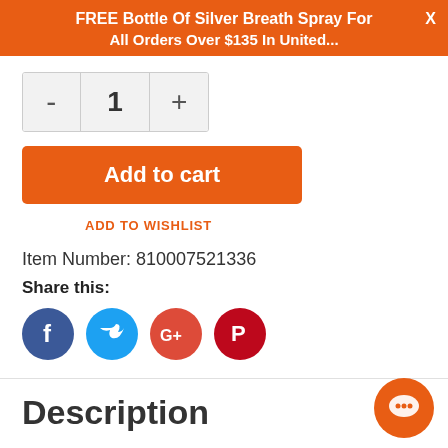FREE Bottle Of Silver Breath Spray For  X
All Orders Over $135 In United...
1
Add to cart
ADD TO WISHLIST
Item Number: 810007521336
Share this:
[Figure (illustration): Social share icons: Facebook (blue circle), Twitter (light blue circle), Google+ (red circle), Pinterest (dark red circle)]
Description